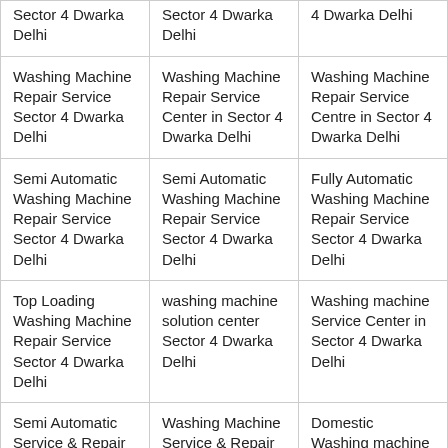| Sector 4 Dwarka Delhi | Sector 4 Dwarka Delhi | 4 Dwarka Delhi |
| Washing Machine Repair Service Sector 4 Dwarka Delhi | Washing Machine Repair Service Center in Sector 4 Dwarka Delhi | Washing Machine Repair Service Centre in Sector 4 Dwarka Delhi |
| Semi Automatic Washing Machine Repair Service Sector 4 Dwarka Delhi | Semi Automatic Washing Machine Repair Service Sector 4 Dwarka Delhi | Fully Automatic Washing Machine Repair Service Sector 4 Dwarka Delhi |
| Top Loading Washing Machine Repair Service Sector 4 Dwarka Delhi | washing machine solution center Sector 4 Dwarka Delhi | Washing machine Service Center in Sector 4 Dwarka Delhi |
| Semi Automatic Service & Repair in Sector 4 Dwarka Delhi | Washing Machine Service & Repair in Sector 4 Dwarka Delhi | Domestic Washing machine Service & Repair in Sector 4 Dwarka Delhi |